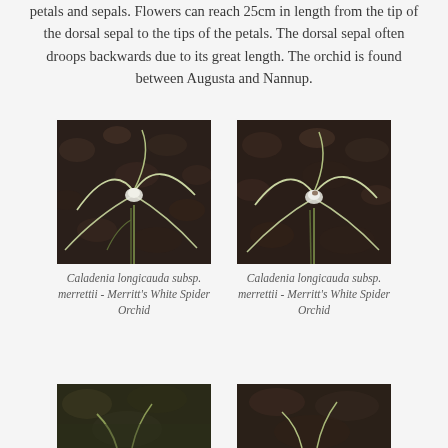petals and sepals. Flowers can reach 25cm in length from the tip of the dorsal sepal to the tips of the petals. The dorsal sepal often droops backwards due to its great length. The orchid is found between Augusta and Nannup.
[Figure (photo): Photograph of Caladenia longicauda subsp. merrettii - Merritt's White Spider Orchid, showing long white petals and sepals against a dark rocky background]
Caladenia longicauda subsp. merrettii - Merritt's White Spider Orchid
[Figure (photo): Photograph of Caladenia longicauda subsp. merrettii - Merritt's White Spider Orchid, showing long white petals and sepals against a dark rocky background]
Caladenia longicauda subsp. merrettii - Merritt's White Spider Orchid
[Figure (photo): Partial photograph of an orchid, bottom of page, left side]
[Figure (photo): Partial photograph of an orchid, bottom of page, right side]